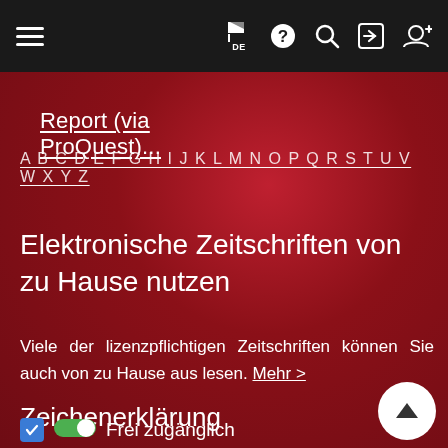Navigation bar with hamburger menu and icons: flag DE, help, search, login, register
Report (via ProQuest)...
A B C D E F G H I J K L M N O P Q R S T U V W X Y Z
Elektronische Zeitschriften von zu Hause nutzen
Viele der lizenzpflichtigen Zeitschriften können Sie auch von zu Hause aus lesen. Mehr >
Zeichenerklärung
Frei zugänglich